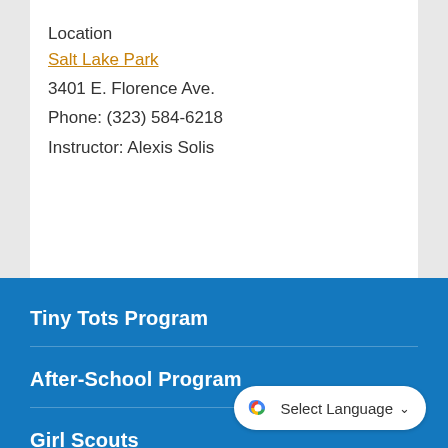Location
Salt Lake Park
3401 E. Florence Ave.
Phone: (323) 584-6218
Instructor: Alexis Solis
Tiny Tots Program
After-School Program
Girl Scouts